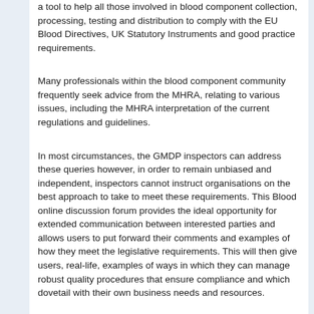a tool to help all those involved in blood component collection, processing, testing and distribution to comply with the EU Blood Directives, UK Statutory Instruments and good practice requirements.
Many professionals within the blood component community frequently seek advice from the MHRA, relating to various issues, including the MHRA interpretation of the current regulations and guidelines.
In most circumstances, the GMDP inspectors can address these queries however, in order to remain unbiased and independent, inspectors cannot instruct organisations on the best approach to take to meet these requirements. This Blood online discussion forum provides the ideal opportunity for extended communication between interested parties and allows users to put forward their comments and examples of how they meet the legislative requirements. This will then give users, real-life, examples of ways in which they can manage robust quality procedures that ensure compliance and which dovetail with their own business needs and resources.
However, we welcome lively discussion on this site, but ask you to please bear in mind our guidelines when submitting comments.
We pre-moderate all comments submitted to this site. This means